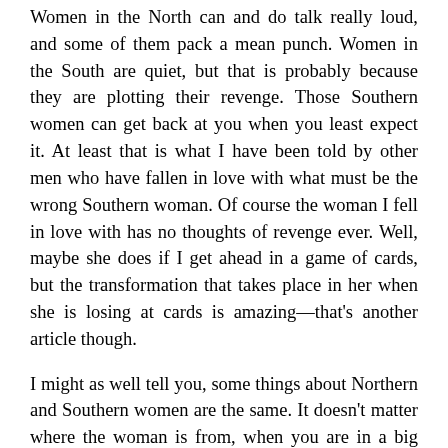Women in the North can and do talk really loud, and some of them pack a mean punch. Women in the South are quiet, but that is probably because they are plotting their revenge. Those Southern women can get back at you when you least expect it. At least that is what I have been told by other men who have fallen in love with what must be the wrong Southern woman. Of course the woman I fell in love with has no thoughts of revenge ever. Well, maybe she does if I get ahead in a game of cards, but the transformation that takes place in her when she is losing at cards is amazing—that's another article though.
I might as well tell you, some things about Northern and Southern women are the same. It doesn't matter where the woman is from, when you are in a big store walking side by side, and suddenly she tells you to go on ahead and she will catch up as you are passing a "Clearance" table or rack of any kind, you know checkout is going to take a while longer.